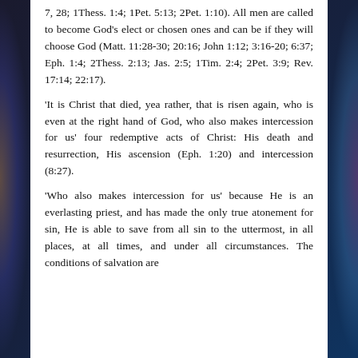7, 28; 1Thess. 1:4; 1Pet. 5:13; 2Pet. 1:10). All men are called to become God’s elect or chosen ones and can be if they will choose God (Matt. 11:28-30; 20:16; John 1:12; 3:16-20; 6:37; Eph. 1:4; 2Thess. 2:13; Jas. 2:5; 1Tim. 2:4; 2Pet. 3:9; Rev. 17:14; 22:17).
‘It is Christ that died, yea rather, that is risen again, who is even at the right hand of God, who also makes intercession for us’ four redemptive acts of Christ: His death and resurrection, His ascension (Eph. 1:20) and intercession (8:27).
‘Who also makes intercession for us’ because He is an everlasting priest, and has made the only true atonement for sin, He is able to save from all sin to the uttermost, in all places, at all times, and under all circumstances. The conditions of salvation are...